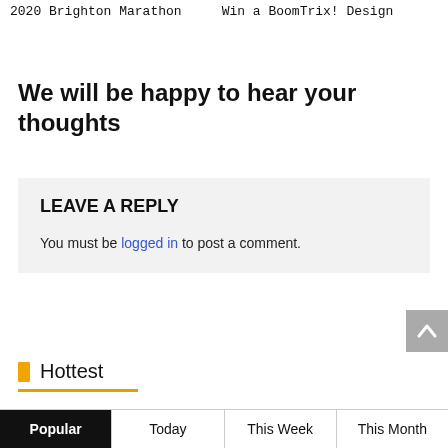2020 Brighton Marathon    Win a BoomTrix! Design
We will be happy to hear your thoughts
LEAVE A REPLY
You must be logged in to post a comment.
Hottest
Popular
Today
This Week
This Month